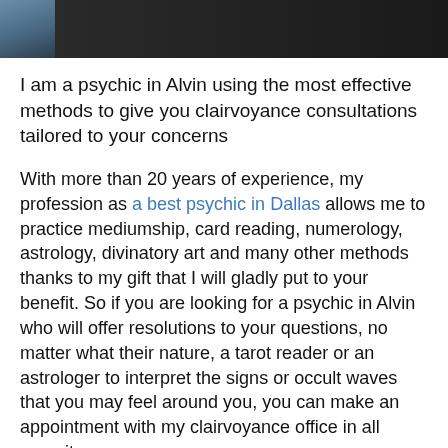[Figure (photo): Cropped photo showing top portion of a person wearing dark clothing, partially visible at the top of the page]
I am a psychic in Alvin using the most effective methods to give you clairvoyance consultations tailored to your concerns
With more than 20 years of experience, my profession as a best psychic in Dallas allows me to practice mediumship, card reading, numerology, astrology, divinatory art and many other methods thanks to my gift that I will gladly put to your benefit. So if you are looking for a psychic in Alvin who will offer resolutions to your questions, no matter what their nature, a tarot reader or an astrologer to interpret the signs or occult waves that you may feel around you, you can make an appointment with my clairvoyance office in all serenity.
If it is impossible for you to move immediately, know that it is possible to contact me by phone for a clairvoyance